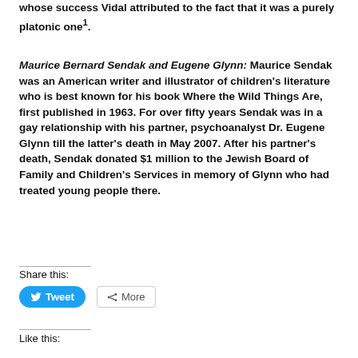whose success Vidal attributed to the fact that it was a purely platonic one¹.
Maurice Bernard Sendak and Eugene Glynn: Maurice Sendak was an American writer and illustrator of children's literature who is best known for his book Where the Wild Things Are, first published in 1963. For over fifty years Sendak was in a gay relationship with his partner, psychoanalyst Dr. Eugene Glynn till the latter's death in May 2007. After his partner's death, Sendak donated $1 million to the Jewish Board of Family and Children's Services in memory of Glynn who had treated young people there.
Share this:
Like this: